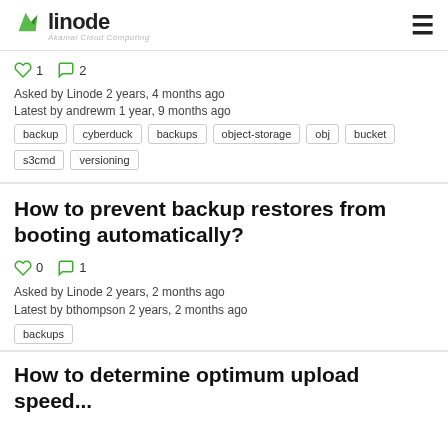Linode — Akamai Cloud Computing
♡ 1   □ 2
Asked by Linode 2 years, 4 months ago
Latest by andrewm 1 year, 9 months ago
backup
cyberduck
backups
object-storage
obj
bucket
s3cmd
versioning
How to prevent backup restores from booting automatically?
♡ 0   □ 1
Asked by Linode 2 years, 2 months ago
Latest by bthompson 2 years, 2 months ago
backups
How to determine optimum upload speed...